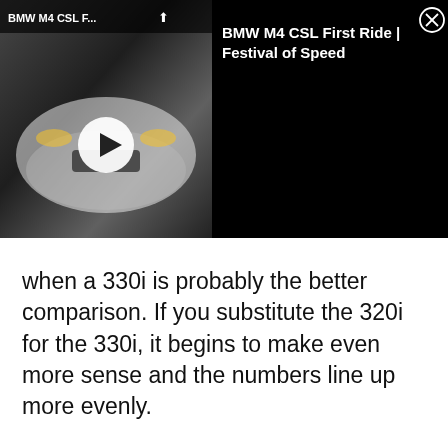[Figure (screenshot): Video overlay panel showing BMW M4 CSL First Ride | Festival of Speed. Left side shows a car thumbnail with a white circular play button. Top bar shows truncated title 'BMW M4 CSL F...' and share icon. Right panel shows full title 'BMW M4 CSL First Ride | Festival of Speed' in white text on black background with an X close button.]
when a 330i is probably the better comparison. If you substitute the 320i for the 330i, it begins to make even more sense and the numbers line up more evenly.
ADVERTISEMENT